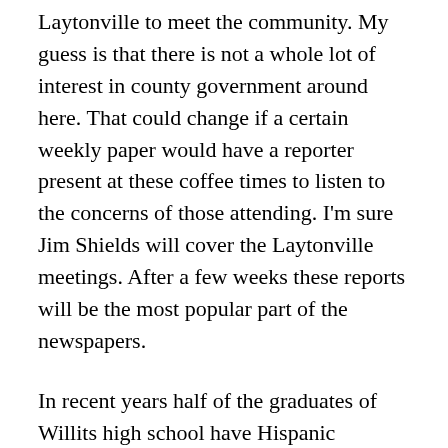Laytonville to meet the community. My guess is that there is not a whole lot of interest in county government around here. That could change if a certain weekly paper would have a reporter present at these coffee times to listen to the concerns of those attending. I'm sure Jim Shields will cover the Laytonville meetings. After a few weeks these reports will be the most popular part of the newspapers.
In recent years half of the graduates of Willits high school have Hispanic surnames. It will be interesting to know if the Latino community is happy. Well the candidates for supervisor be able to address their concerns? Congratulations to Mark Scaramella who has been named civilized engineer of the month for his interest in the Willits Bypass.
Ralph Bostrom
Willits